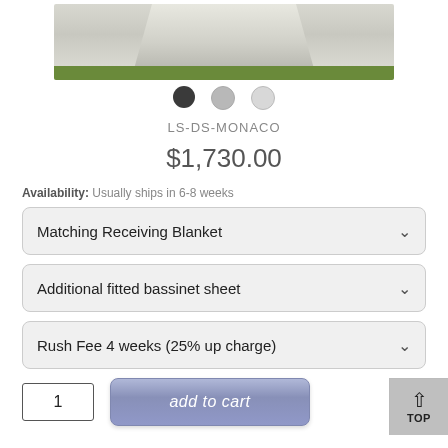[Figure (photo): Partial view of a white/silver quilted fabric item (appears to be a bassinet skirt or christening garment) displayed outdoors on grass, with three color-selector dots below it (dark/charcoal, medium grey, light grey)]
LS-DS-MONACO
$1,730.00
Availability: Usually ships in 6-8 weeks
Matching Receiving Blanket
Additional fitted bassinet sheet
Rush Fee 4 weeks (25% up charge)
1
add to cart
TOP